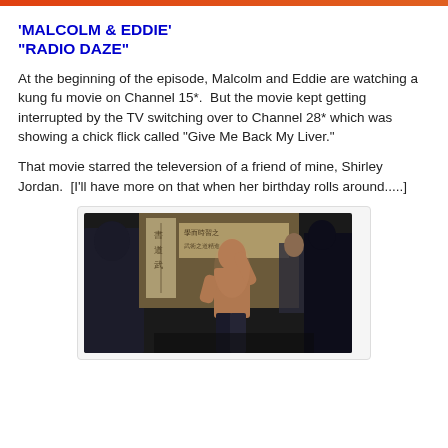'MALCOLM & EDDIE' "RADIO DAZE"
At the beginning of the episode, Malcolm and Eddie are watching a kung fu movie on Channel 15*.  But the movie kept getting interrupted by the TV switching over to Channel 28* which was showing a chick flick called "Give Me Back My Liver."
That movie starred the televersion of a friend of mine, Shirley Jordan.  [I'll have more on that when her birthday rolls around.....]
[Figure (photo): A shirtless young Asian man in a fighting stance surrounded by other people in a dark indoor setting, appearing to be a scene from a kung fu movie.]